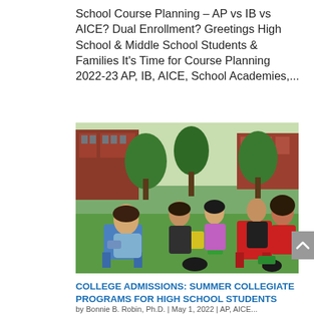School Course Planning – AP vs IB vs AICE? Dual Enrollment? Greetings High School & Middle School Students & Families It's Time for Course Planning 2022-23 AP, IB, AICE, School Academies,...
[Figure (photo): Group of high school students sitting outdoors on colorful chairs on a grassy lawn, talking and socializing. A red brick academic building is visible in the background among trees.]
COLLEGE ADMISSIONS: SUMMER COLLEGIATE PROGRAMS FOR HIGH SCHOOL STUDENTS
by Bonnie B. Robin, Ph.D. | May 1, 2022 | AP, AICE...